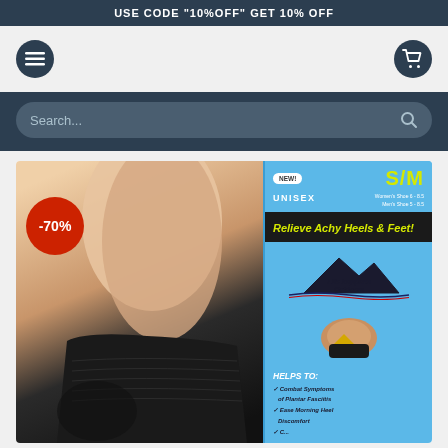USE CODE "10%OFF" GET 10% OFF
[Figure (screenshot): Navigation bar with hamburger menu icon on left and shopping cart icon on right]
[Figure (screenshot): Search bar with placeholder text 'Search...' and magnifying glass icon]
[Figure (photo): Product page showing compression foot socks on a leg on the left, and a product package on the right labeled 'Relieve Achy Heels & Feet!' by Life Happens Outdoors, UNISEX S/M size. A -70% discount badge is overlaid on the left image.]